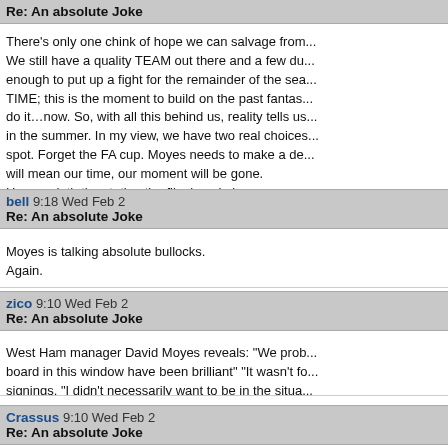Re: An absolute Joke
There's only one chink of hope we can salvage from... We still have a quality TEAM out there and a few du... enough to put up a fight for the remainder of the sea... TIME; this is the moment to build on the past fantas... do it…now. So, with all this behind us, reality tells us... in the summer. In my view, we have two real choices... spot. Forget the FA cup. Moyes needs to make a de... will mean our time, our moment will be gone. Here endeth the stating the flipping obvious.
bell 9:18 Wed Feb 2 Re: An absolute Joke
Moyes is talking absolute bullocks.
Again.
zico 9:10 Wed Feb 2 Re: An absolute Joke
West Ham manager David Moyes reveals: "We prob... board in this window have been brilliant" "It wasn't fo... signings. "I didn't necessarily want to be in the situa... getting it said: 'You need to buy a striker'. We've also... back-up to Micky Antonio than Jarrod."

Mmmm, I assume he means the bids to Leeds or ha... it really difficult to get a better back up re a striker th...
Crassus 9:10 Wed Feb 2 Re: An absolute Joke